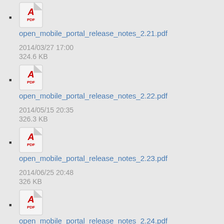open_mobile_portal_release_notes_2.21.pdf
2014/03/27 17:00
324.6 KB
open_mobile_portal_release_notes_2.22.pdf
2014/05/15 20:35
326.3 KB
open_mobile_portal_release_notes_2.23.pdf
2014/06/25 20:48
326 KB
open_mobile_portal_release_notes_2.24.pdf